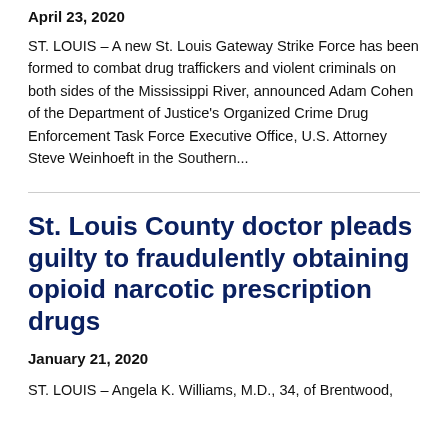April 23, 2020
ST. LOUIS – A new St. Louis Gateway Strike Force has been formed to combat drug traffickers and violent criminals on both sides of the Mississippi River, announced Adam Cohen of the Department of Justice's Organized Crime Drug Enforcement Task Force Executive Office, U.S. Attorney Steve Weinhoeft in the Southern...
St. Louis County doctor pleads guilty to fraudulently obtaining opioid narcotic prescription drugs
January 21, 2020
ST. LOUIS – Angela K. Williams, M.D., 34, of Brentwood,